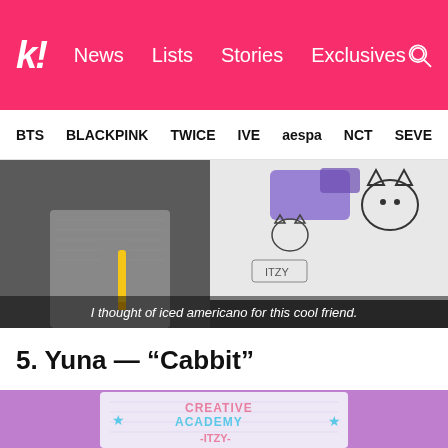k! News Lists Stories Exclusives
BTS BLACKPINK TWICE IVE aespa NCT SEVE
[Figure (screenshot): Video screenshot of a person in a grey tweed jacket holding a yellow marker/pen, with drawings on the wall behind including cat sketches and colorful brush strokes. Subtitle reads: 'I thought of iced americano for this cool friend.']
5. Yuna — “Cabbit”
[Figure (photo): Photo of a purple background with a grid-paper notepad showing 'CREATIVE ACADEMY ITZY' written in pink and blue letters with star decorations and a sun drawing.]